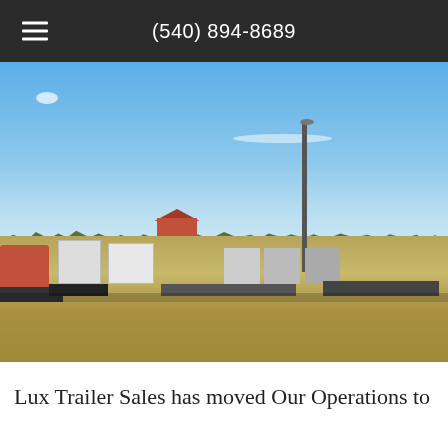(540) 894-8689
[Figure (photo): Outdoor photo of a trailer sales lot showing multiple trailers parked on a grassy field under a blue sky, including enclosed trailers, flatbed trailers, and a red trailer. A tall light pole is visible, and a red barn structure is in the background with a treeline on the horizon.]
Lux Trailer Sales has moved Our Operations to